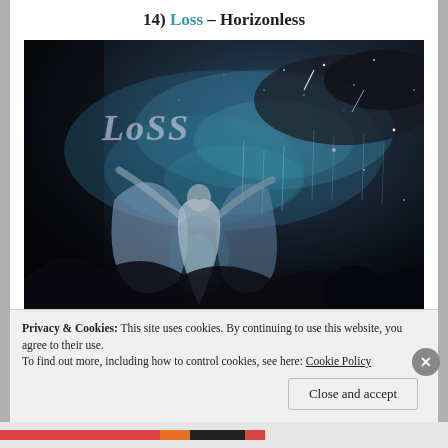14) Loss – Horizonless
[Figure (illustration): Album cover art for Loss – Horizonless. Dark fantasy painting showing a figure with outstretched arms against a cosmic night sky with stars, meteors, and nebula-like blue and teal clouds. The word 'Loss' appears in gothic lettering in the upper left. Dark mountains in the background.]
Privacy & Cookies: This site uses cookies. By continuing to use this website, you agree to their use.
To find out more, including how to control cookies, see here: Cookie Policy
Close and accept